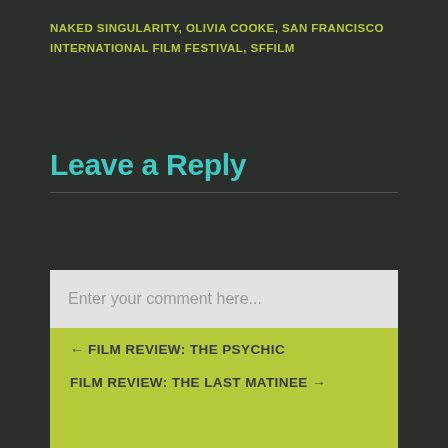NAKED SINGULARITY, OLIVIA COOKE, SAN FRANCISCO INTERNATIONAL FILM FESTIVAL, SFFILM
Leave a Reply
Enter your comment here...
← FILM REVIEW: THE PSYCHIC
FILM REVIEW: THE LAST MATINEE →